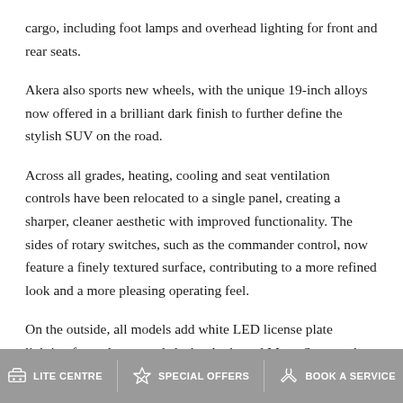cargo, including foot lamps and overhead lighting for front and rear seats.
Akera also sports new wheels, with the unique 19-inch alloys now offered in a brilliant dark finish to further define the stylish SUV on the road.
Across all grades, heating, cooling and seat ventilation controls have been relocated to a single panel, creating a sharper, cleaner aesthetic with improved functionality. The sides of rotary switches, such as the commander control, now feature a finely textured surface, contributing to a more refined look and a more pleasing operating feel.
On the outside, all models add white LED license plate lighting for a cleaner and sleeker look, and Maxx Sport and Touring benefit from refreshed wheels, with the 17-inch alloys changed
LITE CENTRE   SPECIAL OFFERS   BOOK A SERVICE